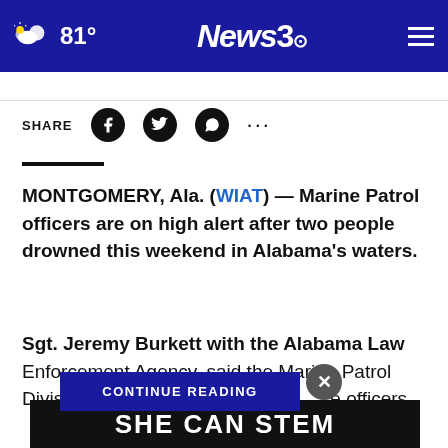News3 — 81°
SHARE
MONTGOMERY, Ala. (WIAT) — Marine Patrol officers are on high alert after two people drowned this weekend in Alabama's waters.
Sgt. Jeremy Burkett with the Alabama Law Enforcement Agency, said the Marine Patrol Division was out in full [CONTINUE READING overlay] e officers
[Figure (screenshot): CONTINUE READING button overlay in dark blue with close X button]
[Figure (screenshot): SHE CAN STEM advertisement banner on dark background]